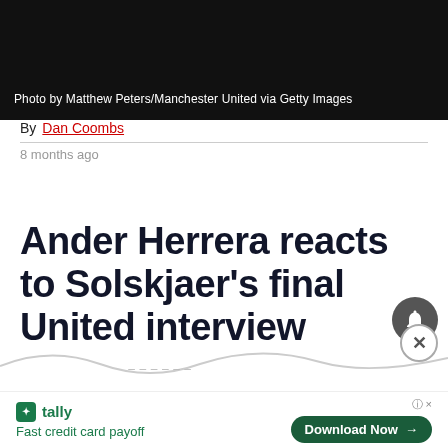[Figure (photo): Dark photograph, likely a person, with photo credit text overlay at bottom]
Photo by Matthew Peters/Manchester United via Getty Images
By Dan Coombs
8 months ago
Ander Herrera reacts to Solskjaer's final United interview